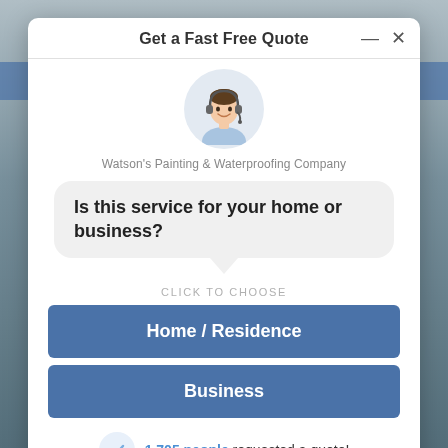Get a Fast Free Quote
[Figure (illustration): Customer service representative with headset, circular avatar photo]
Watson's Painting & Waterproofing Company
Is this service for your home or business?
CLICK TO CHOOSE
Home / Residence
Business
1,705 people requested a quote!